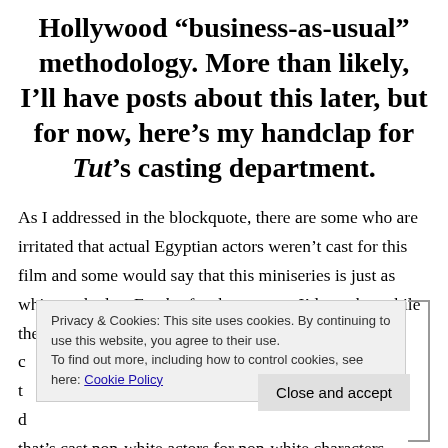Hollywood “business-as-usual” methodology. More than likely, I’ll have posts about this later, but for now, here’s my handclap for Tut’s casting department.
As I addressed in the blockquote, there are some who are irritated that actual Egyptian actors weren’t cast for this film and some would say that this miniseries is just as whitewashed as Exodus for that reason. I’d say that while they aren’t Egyptian, let’s not c… t… d… that’s cast non-white actors for non-white characters.
Privacy & Cookies: This site uses cookies. By continuing to use this website, you agree to their use.
To find out more, including how to control cookies, see here: Cookie Policy